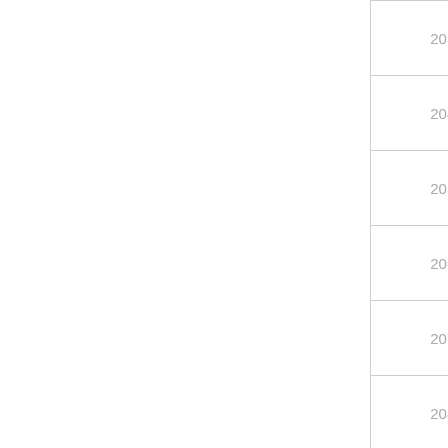| 203 | ░░░░░░░ |
| 204 | ░░░░ |
| 205 | ░░ |
| 206 | ░░ |
| 207 | ░░░ |
| 208 | ░░░░░ |